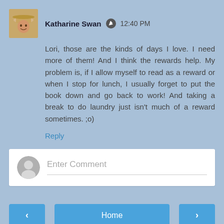Katharine Swan  12:40 PM
Lori, those are the kinds of days I love. I need more of them! And I think the rewards help. My problem is, if I allow myself to read as a reward or when I stop for lunch, I usually forget to put the book down and go back to work! And taking a break to do laundry just isn't much of a reward sometimes. ;o)
Reply
Enter Comment
Home
View web version
Powered by Blogger.